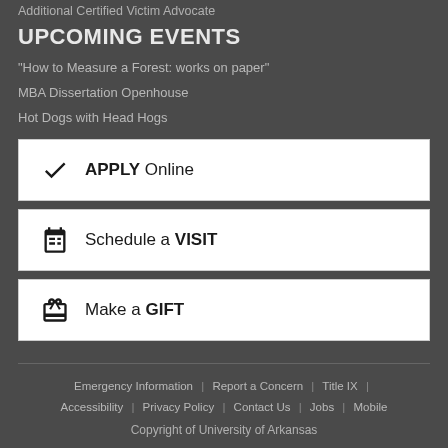Additional Certified Victim Advocate
UPCOMING EVENTS
"How to Measure a Forest: works on paper"
MBA Dissertation Openhouse
Hot Dogs with Head Hogs
APPLY Online
Schedule a VISIT
Make a GIFT
Emergency Information | Report a Concern | Title IX | Accessibility | Privacy Policy | Contact Us | Jobs | Mobile
Copyright of University of Arkansas